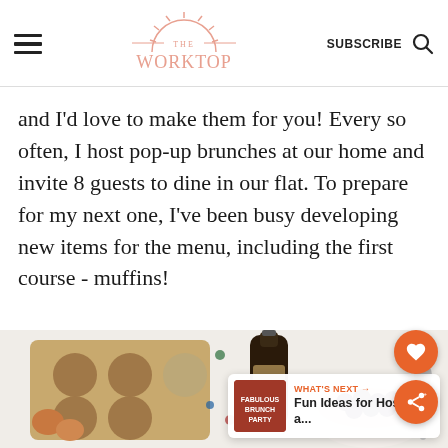THE WORKTOP | SUBSCRIBE
and I'd love to make them for you! Every so often, I host pop-up brunches at our home and invite 8 guests to dine in our flat. To prepare for my next one, I've been busy developing new items for the menu, including the first course - muffins!
[Figure (photo): A top-down photo of a muffin tin on a wooden board with eggs, a bottle of dark liquid (vanilla extract), and a bowl of blueberries on a white polka-dot surface.]
WHAT'S NEXT → Fun Ideas for Hosting a...